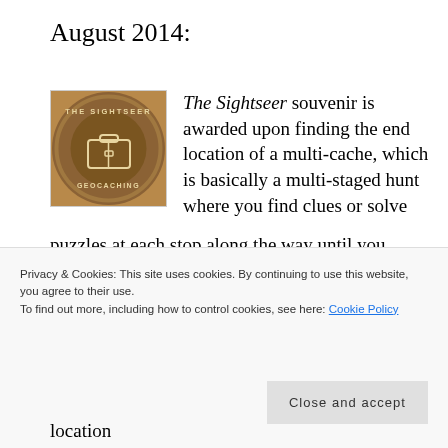August 2014:
[Figure (logo): The Sightseer Geocaching circular badge logo with a suitcase in the center on a brown background]
The Sightseer souvenir is awarded upon finding the end location of a multi-cache, which is basically a multi-staged hunt where you find clues or solve puzzles at each stop along the way until you finally find the geocache container with the logsheet. We lucked out – a new two-part multi-location
Privacy & Cookies: This site uses cookies. By continuing to use this website, you agree to their use.
To find out more, including how to control cookies, see here: Cookie Policy
Close and accept